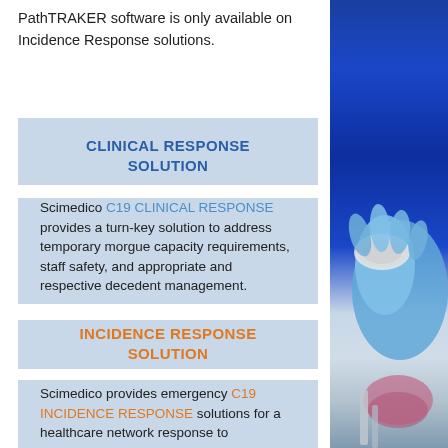PathTRAKER software is only available on Incidence Response solutions.
CLINICAL RESPONSE SOLUTION
Scimedico C19 CLINICAL RESPONSE provides a turn-key solution to address temporary morgue capacity requirements, staff safety, and appropriate and respective decedent management.
INCIDENCE RESPONSE SOLUTION
Scimedico provides emergency C19 INCIDENCE RESPONSE solutions for a healthcare network response to
[Figure (photo): Laboratory photo showing a gloved hand holding a petri dish against a blue background with laboratory equipment]